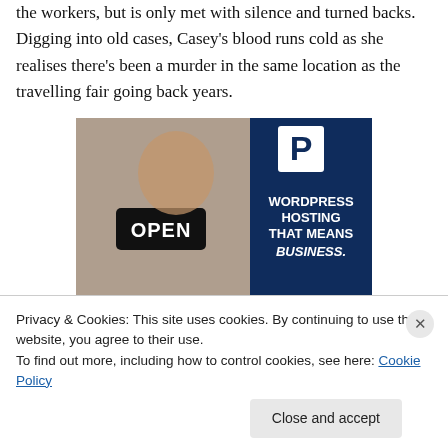the workers, but is only met with silence and turned backs. Digging into old cases, Casey's blood runs cold as she realises there's been a murder in the same location as the travelling fair going back years.
[Figure (photo): Advertisement for WordPress hosting showing a woman holding an 'OPEN' sign, with dark blue panel on right displaying a 'P' logo and text 'WORDPRESS HOSTING THAT MEANS BUSINESS.']
Privacy & Cookies: This site uses cookies. By continuing to use this website, you agree to their use.
To find out more, including how to control cookies, see here: Cookie Policy